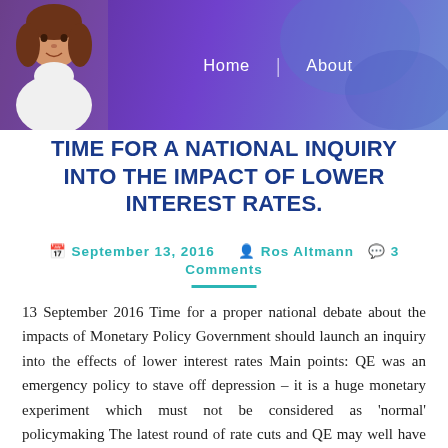[Figure (photo): Header banner with purple/blue gradient background, woman's photo on left, navigation links Home and About on right]
TIME FOR A NATIONAL INQUIRY INTO THE IMPACT OF LOWER INTEREST RATES.
September 13, 2016  Ros Altmann  3 Comments
13 September 2016 Time for a proper national debate about the impacts of Monetary Policy Government should launch an inquiry into the effects of lower interest rates  Main points: QE was an emergency policy to stave off depression – it is a huge monetary experiment which must not be considered as 'normal' policymaking The latest round of rate cuts and QE may well have been a mistake – in August 2016 we were not facing economic collapse and